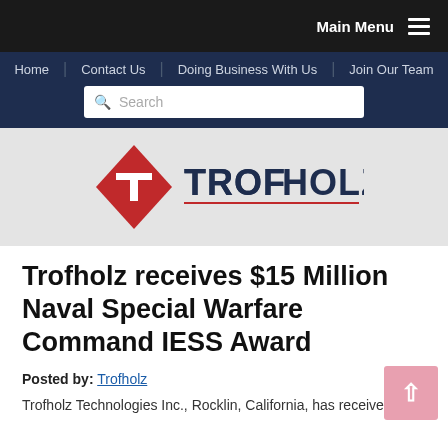Main Menu
Home | Contact Us | Doing Business With Us | Join Our Team
[Figure (logo): Trofholz Technologies logo: red diamond with white T, text TROFHOLZ in navy and red]
Trofholz receives $15 Million Naval Special Warfare Command IESS Award
Posted by: Trofholz
Trofholz Technologies Inc., Rocklin, California, has received